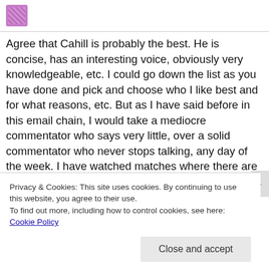[Figure (other): User avatar icon in purple/pink pixelated style at the top left]
Agree that Cahill is probably the best. He is concise, has an interesting voice, obviously very knowledgeable, etc. I could go down the list as you have done and pick and choose who I like best and for what reasons, etc. But as I have said before in this email chain, I would take a mediocre commentator who says very little, over a solid commentator who never stops talking, any day of the week. I have watched matches where there are three or four commentators calling the match! In my opinion there is no need for more than two, and I would love to see some brave network try it with just
Privacy & Cookies: This site uses cookies. By continuing to use this website, you agree to their use.
To find out more, including how to control cookies, see here: Cookie Policy
Close and accept